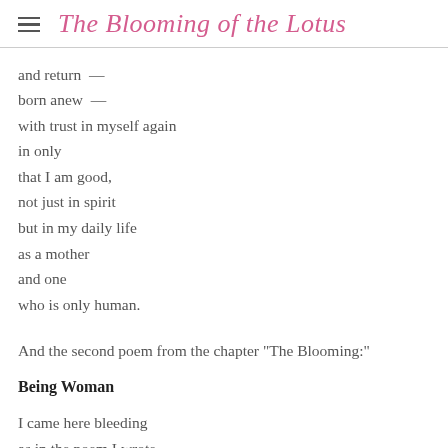The Blooming of the Lotus
and return  —
born anew  —
with trust in myself again
in only
that I am good,
not just in spirit
but in my daily life
as a mother
and one
who is only human.
And the second poem from the chapter "The Blooming:"
Being Woman
I came here bleeding
as in the poem I wrote